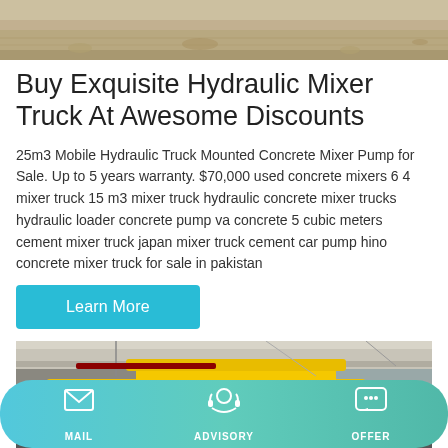[Figure (photo): Top portion of a construction site or rocky/dirt ground scene, cropped photo at top of page]
Buy Exquisite Hydraulic Mixer Truck At Awesome Discounts
25m3 Mobile Hydraulic Truck Mounted Concrete Mixer Pump for Sale. Up to 5 years warranty. $70,000 used concrete mixers 6 4 mixer truck 15 m3 mixer truck hydraulic concrete mixer trucks hydraulic loader concrete pump va concrete 5 cubic meters cement mixer truck japan mixer truck cement car pump hino concrete mixer truck for sale in pakistan
Learn More
[Figure (photo): Yellow truck or heavy machinery inside a concrete building/warehouse, partial view showing cab and roof]
MAIL   ADVISORY   OFFER